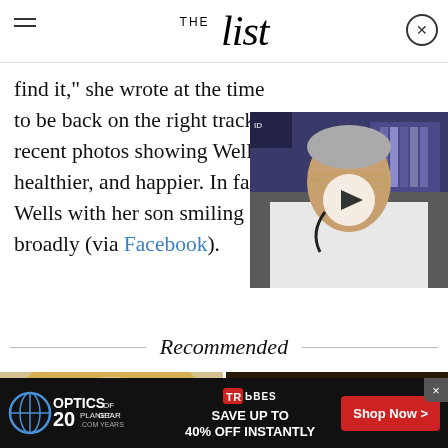THE List
find it," she wrote at the time ... to be back on the right track ... recent photos showing Wells ... healthier, and happier. In fact ... Wells with her son smiling broadly (via Facebook).
[Figure (screenshot): Video thumbnail showing an older man in a white lab coat and glasses, with a play button overlay]
Recommended
[Figure (photo): Two recommended article thumbnail photos: left shows a blonde woman's face, right shows a man with long dark hair]
[Figure (screenshot): Advertisement bar at bottom: Optics Planet 20 Years of Gear - Save up to 40% off instantly - Shop Now button with Tribes logo]